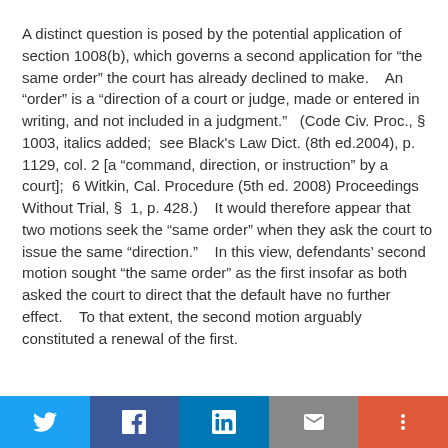A distinct question is posed by the potential application of section 1008(b), which governs a second application for “the same order” the court has already declined to make.    An “order” is a “direction of a court or judge, made or entered in writing, and not included in a judgment.”   (Code Civ. Proc., §  1003, italics added;  see Black's Law Dict. (8th ed.2004), p. 1129, col. 2 [a “command, direction, or instruction” by a court];  6 Witkin, Cal. Procedure (5th ed. 2008) Proceedings Without Trial, §  1, p. 428.)    It would therefore appear that two motions seek the “same order” when they ask the court to issue the same “direction.”    In this view, defendants’ second motion sought “the same order” as the first insofar as both asked the court to direct that the default have no further effect.    To that extent, the second motion arguably constituted a renewal of the first.
Twitter | Facebook | LinkedIn | Email | More